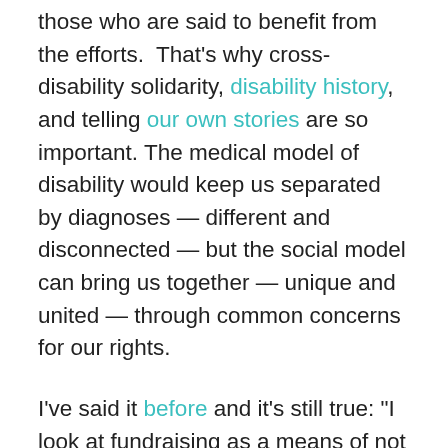those who are said to benefit from the efforts.  That's why cross-disability solidarity, disability history, and telling our own stories are so important. The medical model of disability would keep us separated by diagnoses — different and disconnected — but the social model can bring us together — unique and united — through common concerns for our rights.
I've said it before and it's still true: "I look at fundraising as a means of not just supporting social change but in promoting it as well. How we raise money says a lot about our